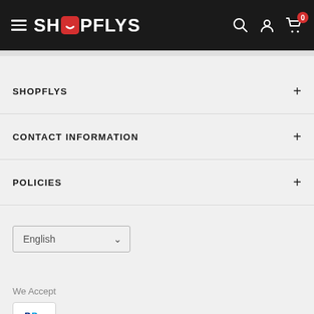SHOPFLYS — navigation header with hamburger menu, logo, search, account, and cart (0 items)
SHOPFLYS
CONTACT INFORMATION
POLICIES
English (language selector)
We Accept